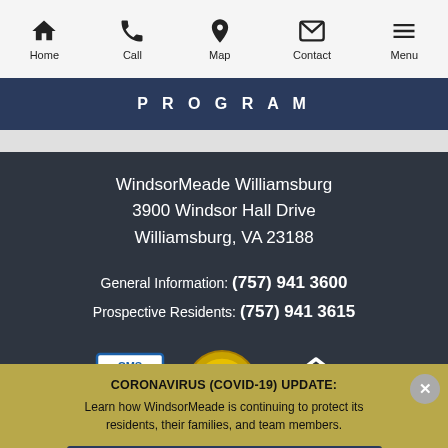Home | Call | Map | Contact | Menu
PROGRAM
WindsorMeade Williamsburg
3900 Windsor Hall Drive
Williamsburg, VA 23188
General Information: (757) 941 3600
Prospective Residents: (757) 941 3615
[Figure (logo): CMS 5-Star Rated badge, CARF Aspire to Excellence badge, Equal Housing logo]
CORONAVIRUS (COVID-19) UPDATE:
Learn how WindsorMeade is continuing to protect its residents, their families, and team members.
LEARN MORE